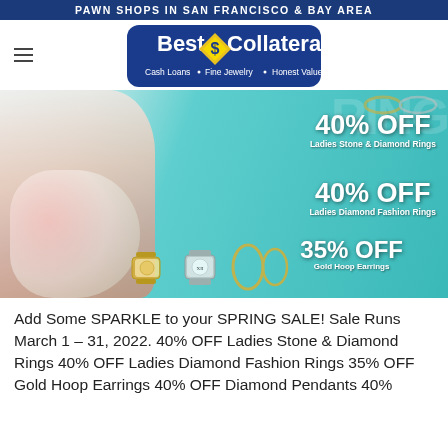PAWN SHOPS IN SAN FRANCISCO & BAY AREA
[Figure (logo): Best Collateral logo — blue rounded rectangle with yellow diamond containing dollar sign, text: Cash Loans, Fine Jewelry, Honest Values]
[Figure (photo): Advertisement banner: teal background with woman in floral dress on left, jewelry and watches displayed, promotions: 40% OFF Ladies Stone & Diamond Rings, 40% OFF Ladies Diamond Fashion Rings, 35% OFF Gold Hoop Earrings]
Add Some SPARKLE to your SPRING SALE! Sale Runs March 1 – 31, 2022. 40% OFF Ladies Stone & Diamond Rings 40% OFF Ladies Diamond Fashion Rings 35% OFF Gold Hoop Earrings 40% OFF Diamond Pendants 40%